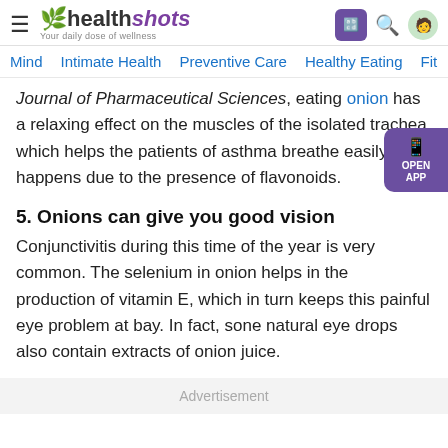healthshots — Your daily dose of wellness
Journal of Pharmaceutical Sciences, eating onion has a relaxing effect on the muscles of the isolated trachea which helps the patients of asthma breathe easily. This happens due to the presence of flavonoids.
5. Onions can give you good vision
Conjunctivitis during this time of the year is very common. The selenium in onion helps in the production of vitamin E, which in turn keeps this painful eye problem at bay. In fact, sone natural eye drops also contain extracts of onion juice.
Advertisement